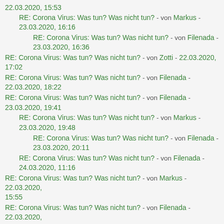22.03.2020, 15:53
RE: Corona Virus: Was tun? Was nicht tun? - von Markus - 23.03.2020, 16:16
RE: Corona Virus: Was tun? Was nicht tun? - von Filenada - 23.03.2020, 16:36
RE: Corona Virus: Was tun? Was nicht tun? - von Zotti - 22.03.2020, 17:02
RE: Corona Virus: Was tun? Was nicht tun? - von Filenada - 22.03.2020, 18:22
RE: Corona Virus: Was tun? Was nicht tun? - von Filenada - 23.03.2020, 19:41
RE: Corona Virus: Was tun? Was nicht tun? - von Markus - 23.03.2020, 19:48
RE: Corona Virus: Was tun? Was nicht tun? - von Filenada - 23.03.2020, 20:11
RE: Corona Virus: Was tun? Was nicht tun? - von Filenada - 24.03.2020, 11:16
RE: Corona Virus: Was tun? Was nicht tun? - von Markus - 22.03.2020, 15:55
RE: Corona Virus: Was tun? Was nicht tun? - von Filenada - 22.03.2020, 19:38
RE: Corona Virus: Was tun? Was nicht tun? - von Klaus - 22.03.2020, 19:59